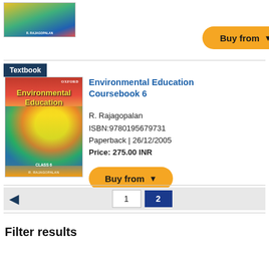[Figure (screenshot): Partial book cover thumbnail at top of page with Buy from button]
Textbook
[Figure (illustration): Environmental Education Coursebook 6 book cover showing nature scene with sun, trees, water, animals. Oxford logo at top right. Author: R. Rajagopalan.]
Environmental Education Coursebook 6
R. Rajagopalan
ISBN:9780195679731
Paperback | 26/12/2005
Price: 275.00 INR
[Figure (screenshot): Buy from button (orange rounded button with chevron)]
1  2  (pagination)
Filter results